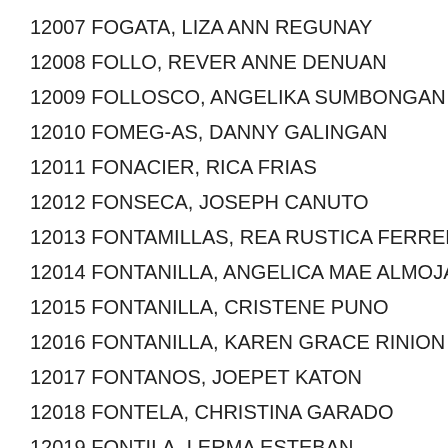12007 FOGATA, LIZA ANN REGUNAY
12008 FOLLO, REVER ANNE DENUAN
12009 FOLLOSCO, ANGELIKA SUMBONGAN
12010 FOMEG-AS, DANNY GALINGAN
12011 FONACIER, RICA FRIAS
12012 FONSECA, JOSEPH CANUTO
12013 FONTAMILLAS, REA RUSTICA FERRER
12014 FONTANILLA, ANGELICA MAE ALMOJANO
12015 FONTANILLA, CRISTENE PUNO
12016 FONTANILLA, KAREN GRACE RINION
12017 FONTANOS, JOEPET KATON
12018 FONTELA, CHRISTINA GARADO
12019 FONTILA, LERMA ESTEBAN
12020 FONTILLAS, EFIGENIA MACADAAN
12021 FONTIVEROS, JIM CARL CY...